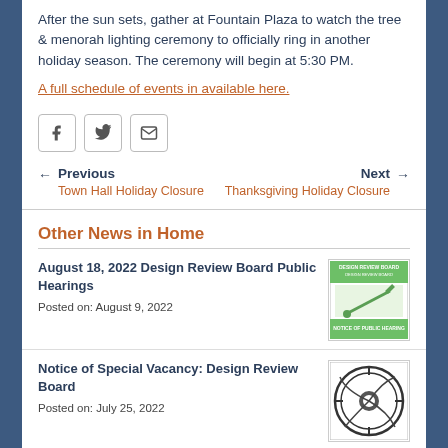After the sun sets, gather at Fountain Plaza to watch the tree & menorah lighting ceremony to officially ring in another holiday season. The ceremony will begin at 5:30 PM.
A full schedule of events in available here.
[Figure (other): Social sharing buttons: Facebook, Twitter, Email]
← Previous Town Hall Holiday Closure | Next → Thanksgiving Holiday Closure
Other News in Home
August 18, 2022 Design Review Board Public Hearings
Posted on: August 9, 2022
[Figure (illustration): Design Review Board Notice of Public Hearing thumbnail with green gavel icon]
Notice of Special Vacancy: Design Review Board
Posted on: July 25, 2022
[Figure (illustration): Design Review Board circular seal logo]